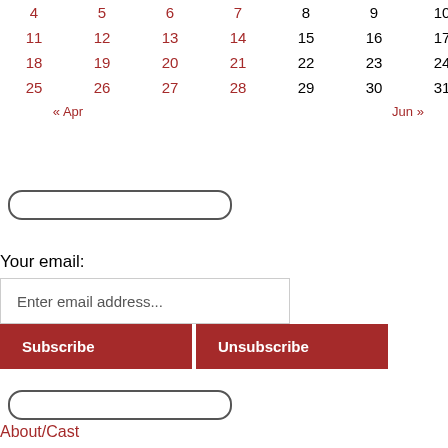| 4 | 5 | 6 | 7 | 8 | 9 | 10 |
| 11 | 12 | 13 | 14 | 15 | 16 | 17 |
| 18 | 19 | 20 | 21 | 22 | 23 | 24 |
| 25 | 26 | 27 | 28 | 29 | 30 | 31 |
| « Apr |  |  |  |  |  | Jun » |
[Figure (other): Search input box (rounded pill shape)]
Your email:
Enter email address...
Subscribe
Unsubscribe
[Figure (other): Search input box (rounded pill shape)]
About/Cast
Archive
Patreon!
Paypal Donation!
RSS